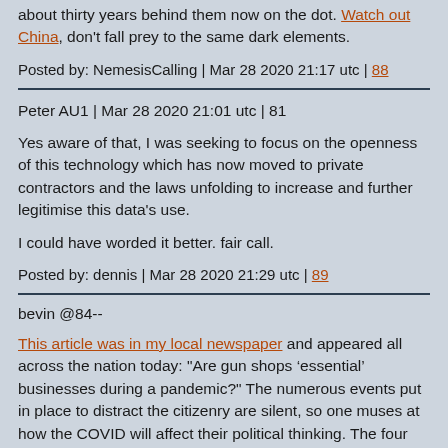about thirty years behind them now on the dot. Watch out China, don't fall prey to the same dark elements.
Posted by: NemesisCalling | Mar 28 2020 21:17 utc | 88
Peter AU1 | Mar 28 2020 21:01 utc | 81
Yes aware of that, I was seeking to focus on the openness of this technology which has now moved to private contractors and the laws unfolding to increase and further legitimise this data's use.
I could have worded it better. fair call.
Posted by: dennis | Mar 28 2020 21:29 utc | 89
bevin @84--
This article was in my local newspaper and appeared all across the nation today: "Are gun shops ‘essential’ businesses during a pandemic?" The numerous events put in place to distract the citizenry are silent, so one muses at how the COVID will affect their political thinking. The four months it took for China to mostly rid itself of COVID so it can get back to work will take even longer within the Outlaw US Empire, with March counting as month #1. Maybe August and two additional citizen bailouts later.